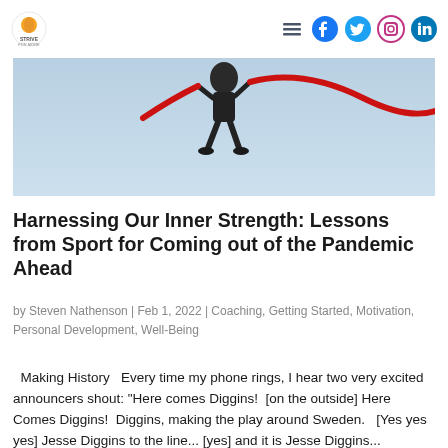STRIVE FOR MORE — navigation and social icons
[Figure (photo): Athlete in dark sportswear mid-jump with a red curved element against a light blue sky background]
Harnessing Our Inner Strength: Lessons from Sport for Coming out of the Pandemic Ahead
by Steven Nathenson | Feb 1, 2022 | Coaching, Getting Started, Motivation, Personal Development, Well-Being
Making History   Every time my phone rings, I hear two very excited announcers shout: "Here comes Diggins!  [on the outside] Here Comes Diggins!  Diggins, making the play around Sweden.   [Yes yes yes] Jesse Diggins to the line... [yes] and it is Jesse Diggins...